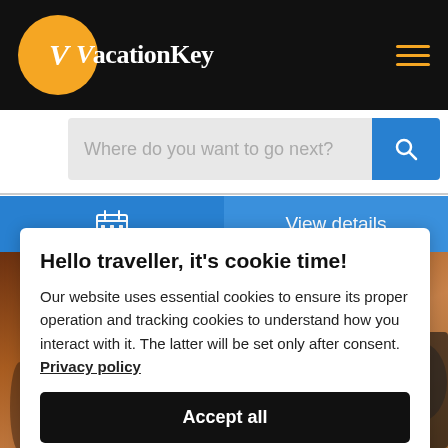VacationKey
Where do you want to go next?
View details
Hello traveller, it's cookie time!
Our website uses essential cookies to ensure its proper operation and tracking cookies to understand how you interact with it. The latter will be set only after consent. Privacy policy
Accept all
Preferences